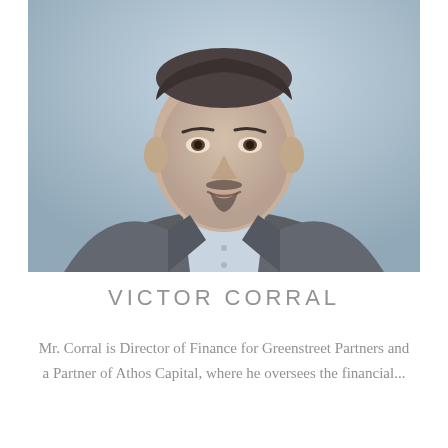[Figure (photo): Professional headshot of Victor Corral, a middle-aged man wearing a dark blazer over a light blue dress shirt, photographed against a soft blue-grey background.]
VICTOR CORRAL
Mr. Corral is Director of Finance for Greenstreet Partners and a Partner of Athos Capital, where he oversees the financial...